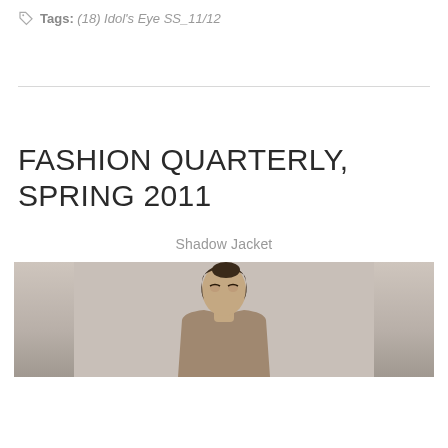Tags: (18) Idol's Eye SS_11/12
FASHION QUARTERLY, SPRING 2011
Shadow Jacket
[Figure (photo): A model wearing a Shadow Jacket from Fashion Quarterly Spring 2011, shown from waist up with dark upswept hair against a neutral background.]